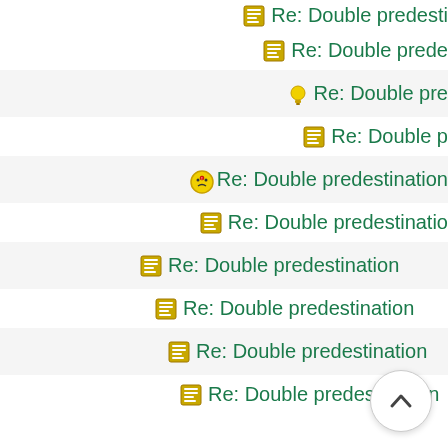Re: Double predestination
Re: Double predestination
Re: Double predestination
Re: Double predestination
Re: Double predestination
Re: Double predestination
Re: Double predestination
Re: Double predestination
Re: Double predestination
Re: Double predestination